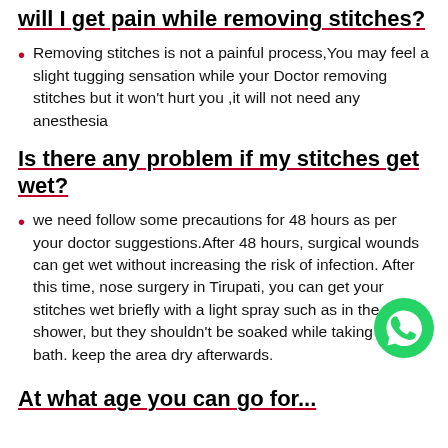will I get pain while removing stitches?
Removing stitches is not a painful process,You may feel a slight tugging sensation while your Doctor removing stitches but it won't hurt you ,it will not need any anesthesia
Is there any problem if my stitches get wet?
we need follow some precautions for 48 hours as per your doctor suggestions.After 48 hours, surgical wounds can get wet without increasing the risk of infection. After this time, nose surgery in Tirupati, you can get your stitches wet briefly with a light spray such as in the shower, but they shouldn't be soaked while taking the bath. keep the area dry afterwards.
At what age you can go for...